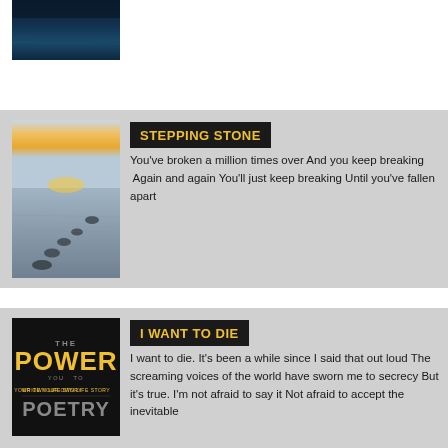[Figure (photo): Dark blue ocean/water scene photo thumbnail at top left]
[Figure (photo): Stepping stones across calm water at sunset, light reflecting on water surface]
STEPPING STONE
You've broken a million times over And you keep breaking  Again and again You'll just keep breaking Until you've fallen apart
[Figure (logo): Black background logo with POWER OF POETRY / WRITE YOUR OWN LIFE STORY text in yellow and grey]
I WANT TO DIE
I want to die. It's been a while since I said that out loud The screaming voices of the world have sworn me to secrecy But it's true. I'm not afraid to say it Not afraid to accept the inevitable